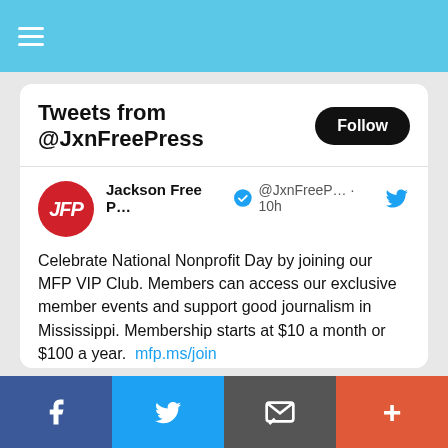≡ (hamburger menu)
Tweets from @JxnFreePress
Jackson Free P... ✓ @JxnFreeP... · 10h
Celebrate National Nonprofit Day by joining our MFP VIP Club. Members can access our exclusive member events and support good journalism in Mississippi. Membership starts at $10 a month or $100 a year. mfp.ms/join
[Figure (photo): Purple promotional banner with text 'Celebrate National Nonprofit Day by joining our MFP VIP Club' in white bold text on purple background]
f  (Facebook) | Twitter bird | Email/envelope icon | +